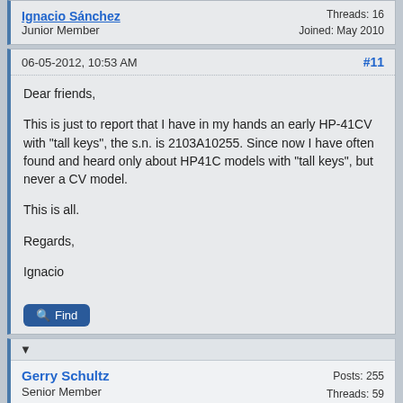Ignacio Sánchez
Junior Member
Threads: 16
Joined: May 2010
06-05-2012, 10:53 AM  #11
Dear friends,

This is just to report that I have in my hands an early HP-41CV with "tall keys", the s.n. is 2103A10255. Since now I have often found and heard only about HP41C models with "tall keys", but never a CV model.

This is all.

Regards,

Ignacio
Find
▼
Gerry Schultz
Senior Member
Posts: 255
Threads: 59
Joined: Jul 2007